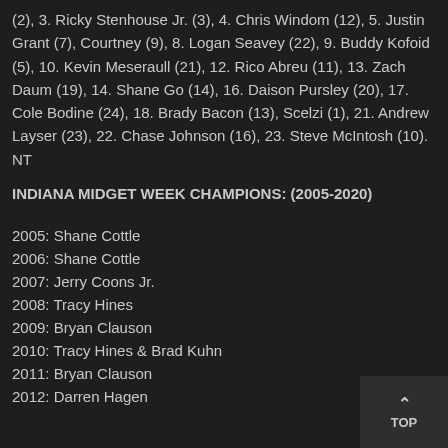(2), 3. Ricky Stenhouse Jr. (3), 4. Chris Windom (12), 5. Justin Grant (7), Courtney (9), 8. Logan Seavey (22), 9. Buddy Kofoid (5), 10. Kevin Meseraull (21), 12. Rico Abreu (11), 13. Zach Daum (19), 14. Shane Go (14), 16. Daison Pursley (20), 17. Cole Bodine (24), 18. Brady Bacon (13), Scelzi (1), 21. Andrew Layser (23), 22. Chase Johnson (16), 23. Steve McIntosh (10). NT
INDIANA MIDGET WEEK CHAMPIONS: (2005-2020)
2005: Shane Cottle
2006: Shane Cottle
2007: Jerry Coons Jr.
2008: Tracy Hines
2009: Bryan Clauson
2010: Tracy Hines & Brad Kuhn
2011: Bryan Clauson
2012: Darren Hagen